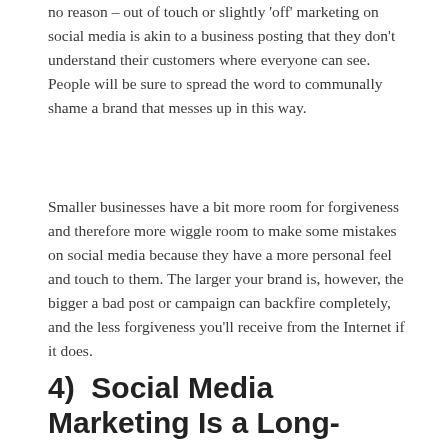no reason – out of touch or slightly 'off' marketing on social media is akin to a business posting that they don't understand their customers where everyone can see. People will be sure to spread the word to communally shame a brand that messes up in this way.
Smaller businesses have a bit more room for forgiveness and therefore more wiggle room to make some mistakes on social media because they have a more personal feel and touch to them. The larger your brand is, however, the bigger a bad post or campaign can backfire completely, and the less forgiveness you'll receive from the Internet if it does.
4)  Social Media Marketing Is a Long-Term Strategy